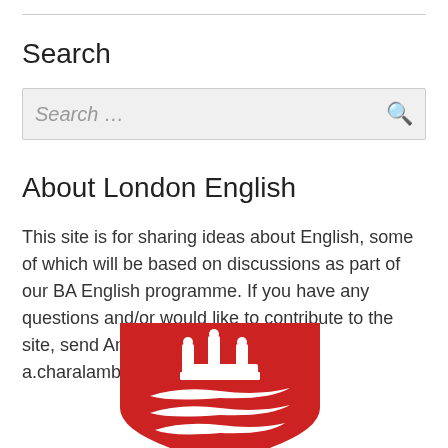Search
Search ...
About London English
This site is for sharing ideas about English, some of which will be based on discussions as part of our BA English programme. If you have any questions and/or would like to contribute to the site, send Anna an email: a.charalambidou@mdx.ac.uk
[Figure (logo): Middlesex University red shield logo with crown and three fish/waves, white on red background]